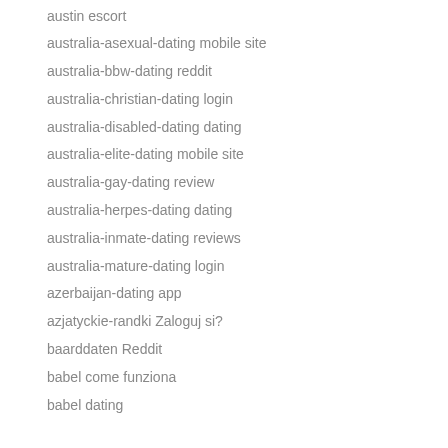austin escort
australia-asexual-dating mobile site
australia-bbw-dating reddit
australia-christian-dating login
australia-disabled-dating dating
australia-elite-dating mobile site
australia-gay-dating review
australia-herpes-dating dating
australia-inmate-dating reviews
australia-mature-dating login
azerbaijan-dating app
azjatyckie-randki Zaloguj si?
baarddaten Reddit
babel come funziona
babel dating